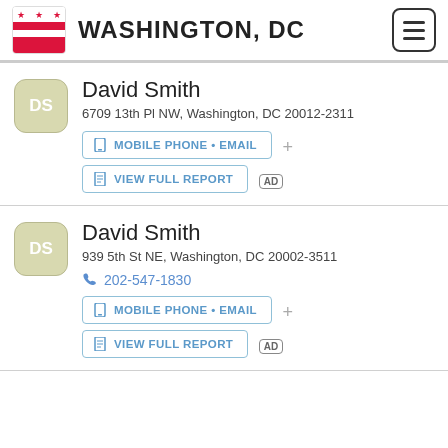WASHINGTON, DC
David Smith
6709 13th Pl NW, Washington, DC 20012-2311
MOBILE PHONE • EMAIL
VIEW FULL REPORT
David Smith
939 5th St NE, Washington, DC 20002-3511
202-547-1830
MOBILE PHONE • EMAIL
VIEW FULL REPORT